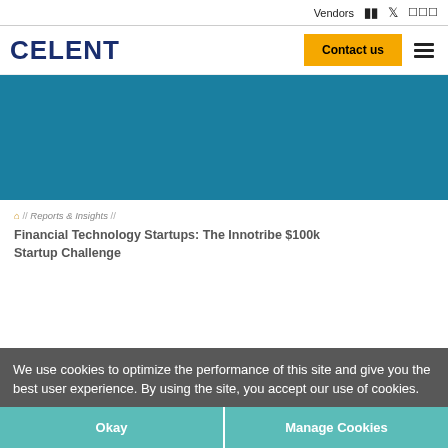Vendors  🔲  🐦  ⬛⬛⬛
[Figure (logo): Celent logo — dark navy bold text 'CELENT']
Contact us
[Figure (infographic): Teal/blue hero banner image area]
🏠 // Reports & Insights //
Financial Technology Startups: The Innotribe $100k Startup Challenge
We use cookies to optimize the performance of this site and give you the best user experience. By using the site, you accept our use of cookies.
Okay    Manage Cookies
FINANCIAL TECHNOLOGY STARTUPS: THE